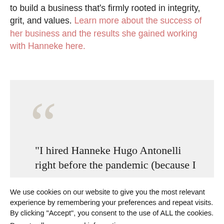to build a business that's firmly rooted in integrity, grit, and values. Learn more about the success of her business and the results she gained working with Hanneke here.
[Figure (other): Pull quote box with large decorative quotation marks and partial quote text reading: "I hired Hanneke Hugo Antonelli right before the pandemic (because I"]
We use cookies on our website to give you the most relevant experience by remembering your preferences and repeat visits. By clicking "Accept", you consent to the use of ALL the cookies.
Do not sell my personal information.